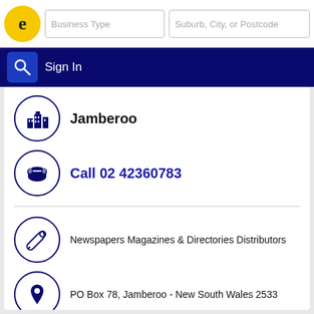[Figure (screenshot): Business directory website header with logo, search fields for Business Type and Suburb/City/Postcode, and a dark blue navigation bar with Sign In option]
Jamberoo
Call 02 42360783
Newspapers Magazines & Directories Distributors
PO Box 78, Jamberoo - New South Wales 2533
↳ More results nearby or related categories
Newspapers & Magazines Distributors Jamberoo NSW